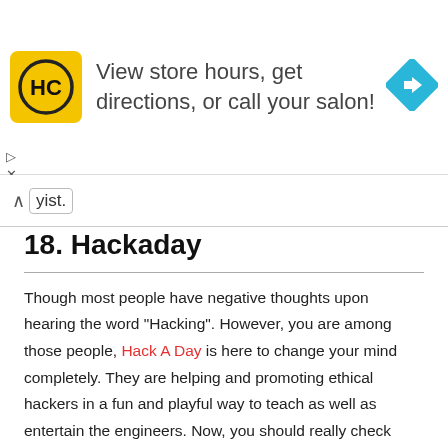[Figure (other): Advertisement banner: HC logo (yellow square with HC text), text 'View store hours, get directions, or call your salon!', and a blue diamond navigation arrow icon on the right]
yist.
18. Hackaday
Though most people have negative thoughts upon hearing the word “Hacking”. However, you are among those people, Hack A Day is here to change your mind completely. They are helping and promoting ethical hackers in a fun and playful way to teach as well as entertain the engineers. Now, you should really check their raspberry pi blogs. Those are some of the best you can find on the internet.